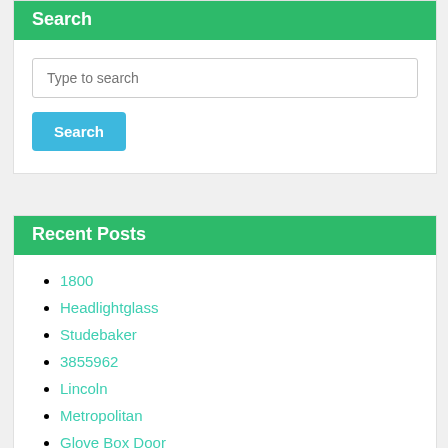Search
Type to search
Search
Recent Posts
1800
Headlightglass
Studebaker
3855962
Lincoln
Metropolitan
Glove Box Door
Exhaust Manfiold Gasket
Amco Porsche Knob Walnut